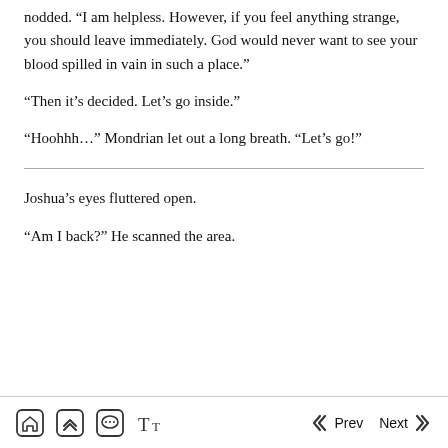nodded. “I am helpless. However, if you feel anything strange, you should leave immediately. God would never want to see your blood spilled in vain in such a place.”
“Then it’s decided. Let’s go inside.”
“Hoohhh…” Mondrian let out a long breath. “Let’s go!”
Joshua’s eyes fluttered open.
“Am I back?” He scanned the area.
Home  Chapters  Comments  Text  Prev  Next